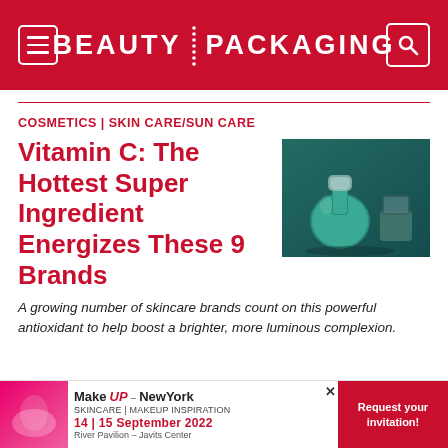BEAUTY PACKAGING
COSMETICS | SKIN CARE/SUN CARE
[Figure (photo): Teal/dark green cosmetic bottle and small glass container on dark background]
Vitamin C: The Hottest Super Ingredient Energizes These 9 Brands
A growing number of skincare brands count on this powerful antioxidant to help boost a brighter, more luminous complexion.
[Figure (other): MakeUP NewYork advertisement banner: 14 | 15 September 2022, River Pavilion – Javits Center. Request your invitation!]